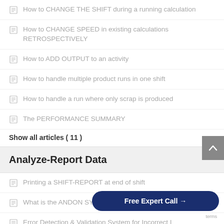How to CHANGE THE SHIFT during a running calculation
How to CHANGE SPEED in existing calculations RETROSPECTIVELY
How to ADD OUTPUT to an activity
How to handle multiple product runs in one shift
How to handle a run where only scrap is produced
The PERFORMANCE SUMMARY
Show all articles ( 11 )
Analyze-Report Data
Printing a SHIFT-REPORT at end of shift
What is the ANDON SYSTEM
Error Detection & Validation System for Incorrect I
What are ANALYSES and what
Features of the ANALYSES SCREENS